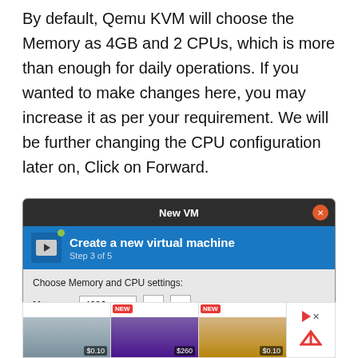By default, Qemu KVM will choose the Memory as 4GB and 2 CPUs, which is more than enough for daily operations. If you wanted to make changes here, you may increase it as per your requirement. We will be further changing the CPU configuration later on, Click on Forward.
[Figure (screenshot): New VM dialog window showing 'Create a new virtual machine, Step 3 of 5' with a blue header, and a content area showing 'Choose Memory and CPU settings:' with a Memory field set to 4096 and plus/minus buttons.]
[Figure (screenshot): Advertisement banner showing three iPhone listings with prices $0.10, $260, and $0.10, with NEW badges on two of them.]